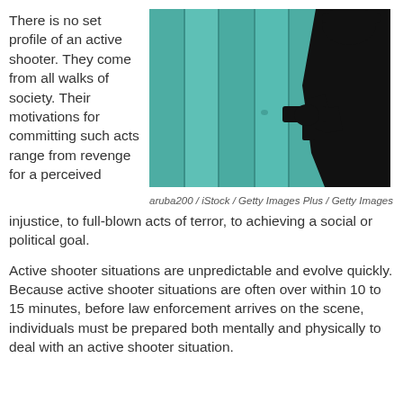There is no set profile of an active shooter. They come from all walks of society. Their motivations for committing such acts range from revenge for a perceived injustice, to full-blown acts of terror, to achieving a social or political goal.
[Figure (photo): Silhouette of a person holding a gun against a teal wooden plank background]
aruba200 / iStock / Getty Images Plus / Getty Images
Active shooter situations are unpredictable and evolve quickly. Because active shooter situations are often over within 10 to 15 minutes, before law enforcement arrives on the scene, individuals must be prepared both mentally and physically to deal with an active shooter situation.